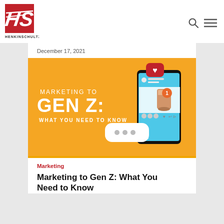[Figure (logo): HenkinSchultz logo - red square with white stylized 'HS' initials, text 'HENKINSCHULTZ' below]
[Figure (illustration): Marketing to Gen Z: What You Need to Know - orange banner with smartphone showing social media, chat bubble with ellipsis, heart notification, and text overlay]
December 17, 2021
Marketing
Marketing to Gen Z: What You Need to Know